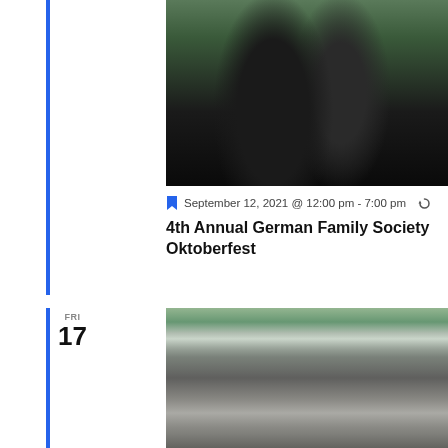[Figure (photo): Two people in traditional German folk costumes dancing, woman in green bodice and black skirt, man in black jacket with medals and pins]
September 12, 2021 @ 12:00 pm - 7:00 pm
4th Annual German Family Society Oktoberfest
FRI 17
[Figure (photo): Children in traditional German folk costumes performing at an outdoor gazebo/bandstand, decorated with flowers and garlands]